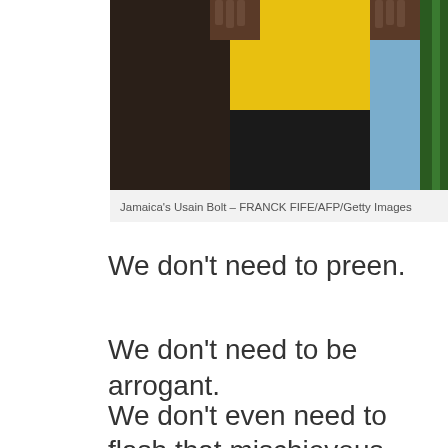[Figure (photo): Photo of Jamaica's Usain Bolt showing upper body in yellow jersey with hands raised, cropped]
Jamaica's Usain Bolt – FRANCK FIFE/AFP/Getty Images
We don't need to preen.
We don't need to be arrogant.
We don't even need to flash that mischievous smile.